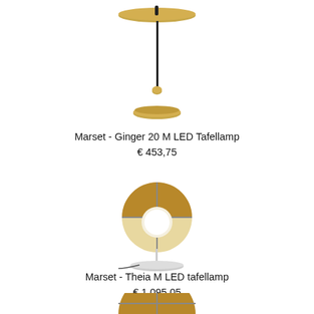[Figure (photo): Marset Ginger 20 M LED table lamp with black stem, golden disc shade and golden base]
Marset - Ginger 20 M LED Tafellamp
€ 453,75
[Figure (photo): Marset Theia M LED table lamp with spherical gold and white globe shade on white base]
Marset - Theia M LED tafellamp
€ 1.095,05
[Figure (photo): Partial view of a Marset lamp with gold dome at bottom of page]